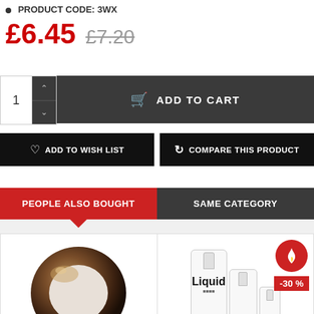PRODUCT CODE: 3WX
£6.45  £7.20
1  ADD TO CART
ADD TO WISH LIST  COMPARE THIS PRODUCT
PEOPLE ALSO BOUGHT  SAME CATEGORY
[Figure (photo): Two product images: a dark metallic ring on the left, and liquid bottles labeled 'Liquid' on the right with a -30% discount badge and fire icon.]